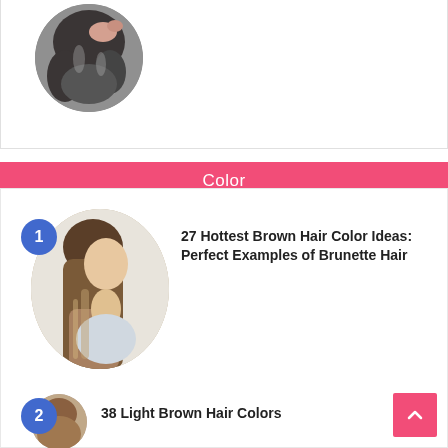[Figure (photo): Circular cropped photo of a person with long wavy dark/grey hair from behind, partially visible at top of page]
Color
[Figure (photo): Circular cropped photo of a woman with long brown ombre/balayage hair, side profile view]
27 Hottest Brown Hair Color Ideas: Perfect Examples of Brunette Hair
[Figure (photo): Partial circular photo of a person with light brown hair, bottom of page]
38 Light Brown Hair Colors